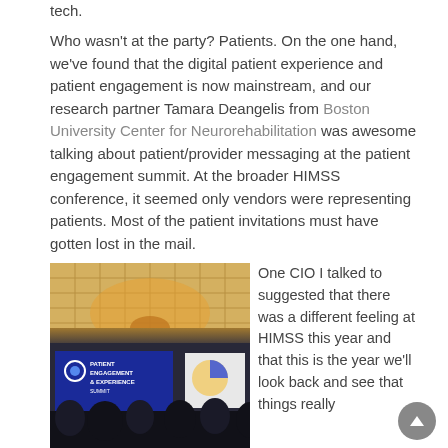tech.
Who wasn't at the party? Patients. On the one hand, we've found that the digital patient experience and patient engagement is now mainstream, and our research partner Tamara Deangelis from Boston University Center for Neurorehabilitation was awesome talking about patient/provider messaging at the patient engagement summit. At the broader HIMSS conference, it seemed only vendors were representing patients. Most of the patient invitations must have gotten lost in the mail.
[Figure (photo): Conference hall photo showing the Patient Engagement & Experience Summit banner on a blue backdrop on stage, with audience members seated in the foreground and ornate ceiling with warm lighting above.]
One CIO I talked to suggested that there was a different feeling at HIMSS this year and that this is the year we'll look back and see that things really